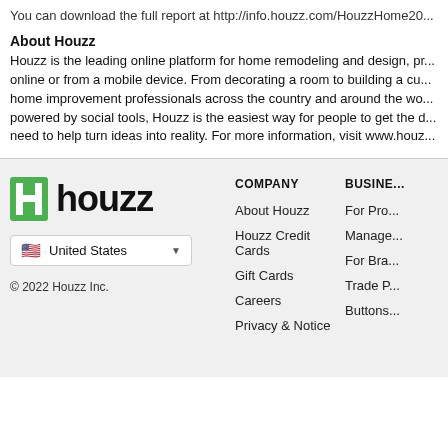You can download the full report at http://info.houzz.com/HouzzHome20...
About Houzz
Houzz is the leading online platform for home remodeling and design, providing everything online or from a mobile device. From decorating a room to building a custom home, home improvement professionals across the country and around the world. Powered by social tools, Houzz is the easiest way for people to get the design inspiration they need to help turn ideas into reality. For more information, visit www.houzz...
[Figure (logo): Houzz logo with green 'h' icon and bold 'houzz' text]
United States
© 2022 Houzz Inc.
COMPANY
About Houzz
Houzz Credit Cards
Gift Cards
Careers
Privacy & Notice
BUSINESS
For Professionals
Manage
For Brands
Trade P...
Buttons...